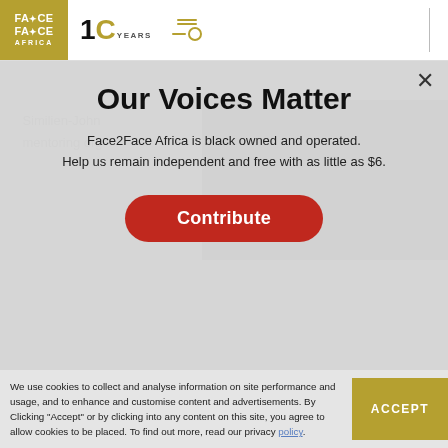Face2Face Africa - 10 Years
Our Voices Matter
Face2Face Africa is black owned and operated. Help us remain independent and free with as little as $6.
Contribute
Similien-John mentoring org
How Florida's 1st Black dentist became 'father' of the Civil Rights
We use cookies to collect and analyse information on site performance and usage, and to enhance and customise content and advertisements. By Clicking "Accept" or by clicking into any content on this site, you agree to allow cookies to be placed. To find out more, read our privacy policy.